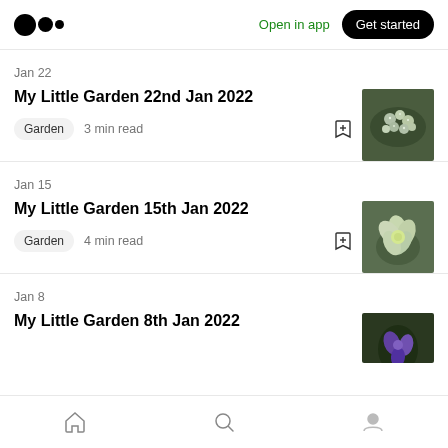Medium logo | Open in app | Get started
Jan 22
My Little Garden 22nd Jan 2022
Garden  3 min read
[Figure (photo): Close-up of frost-covered small white flowers in a garden]
Jan 15
My Little Garden 15th Jan 2022
Garden  4 min read
[Figure (photo): Close-up of a pale green hellebore flower]
Jan 8
My Little Garden 8th Jan 2022
[Figure (photo): Partial thumbnail of a garden plant with purple/violet coloring]
Home | Search | Profile